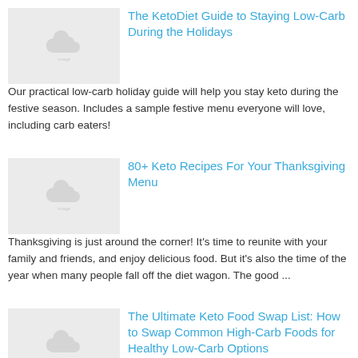[Figure (illustration): Gray placeholder thumbnail with cloud/image icon]
The KetoDiet Guide to Staying Low-Carb During the Holidays
Our practical low-carb holiday guide will help you stay keto during the festive season. Includes a sample festive menu everyone will love, including carb eaters!
[Figure (illustration): Gray placeholder thumbnail with cloud/image icon]
80+ Keto Recipes For Your Thanksgiving Menu
Thanksgiving is just around the corner! It's time to reunite with your family and friends, and enjoy delicious food. But it's also the time of the year when many people fall off the diet wagon. The good ...
[Figure (illustration): Gray placeholder thumbnail with cloud/image icon]
The Ultimate Keto Food Swap List: How to Swap Common High-Carb Foods for Healthy Low-Carb Options